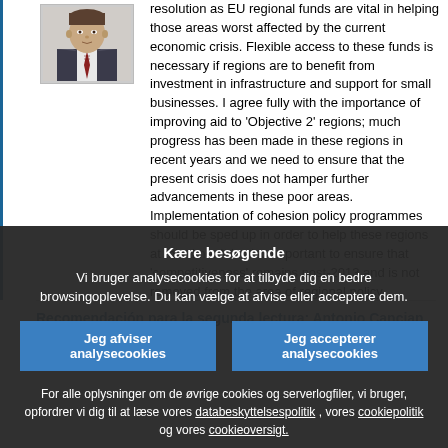[Figure (photo): Headshot photo of a man in a suit and tie]
resolution as EU regional funds are vital in helping those areas worst affected by the current economic crisis. Flexible access to these funds is necessary if regions are to benefit from investment in infrastructure and support for small businesses. I agree fully with the importance of improving aid to 'Objective 2' regions; much progress has been made in these regions in recent years and we need to ensure that the present crisis does not hamper further advancements in these poor areas. Implementation of cohesion policy programmes should be sped up in order to help these regions at this time. It is also important to ensure that 'competitiveness' remains post-2013 and is not removed from the area of regional policy.
Recomendación para la segunda lectura: Antonio Cancian (A7-0174/2010)
Kære besøgende
Vi bruger analysecookies for at tilbyde dig en bedre browsingoplevelse. Du kan vælge at afvise eller acceptere dem.
Jeg afviser analysecookies
Jeg accepterer analysecookies
For alle oplysninger om de øvrige cookies og serverlogfiler, vi bruger, opfordrer vi dig til at læse vores databeskyttelsespolitik , vores cookiepolitik og vores cookieoversigt.